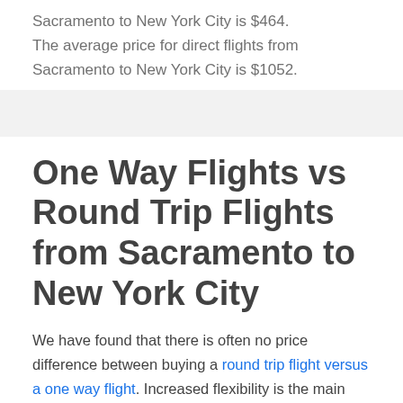Sacramento to New York City is $464.
The average price for direct flights from Sacramento to New York City is $1052.
One Way Flights vs Round Trip Flights from Sacramento to New York City
We have found that there is often no price difference between buying a round trip flight versus a one way flight. Increased flexibility is the main benefit when it